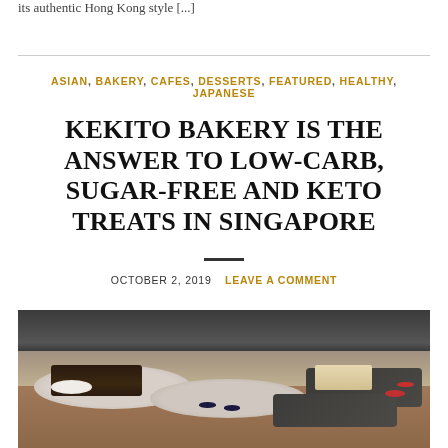its authentic Hong Kong style [...]
ASIAN, BAKERY, CAFES, DESSERTS, FEATURED, HEALTHY, JAPANESE
KEKITO BAKERY IS THE ANSWER TO LOW-CARB, SUGAR-FREE AND KETO TREATS IN SINGAPORE
OCTOBER 2, 2019   LEAVE A COMMENT
[Figure (photo): Photo of desserts and keto treats on plates on a wooden table at Kekito Bakery]